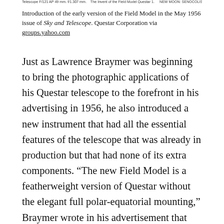Telescope F/121 AP 49 mm. f/1.307 mm.   The Invent of the Field Model Questar 1.   NEW MOON: SENOCOLIS (33)
Introduction of the early version of the Field Model in the May 1956 issue of Sky and Telescope. Questar Corporation via groups.yahoo.com
Just as Lawrence Braymer was beginning to bring the photographic applications of his Questar telescope to the forefront in his advertising in 1956, he also introduced a new instrument that had all the essential features of the telescope that was already in production but that had none of its extra components. “The new Field Model is a featherweight version of Questar without the elegant full polar-equatorial mounting,” Braymer wrote in his advertisement that appeared in the May 1956 issue of Sky and Telescope. Priced at $495, or $500 less than the full product, it made “the famous Questar optical system available for use with any camera tripod and all standard